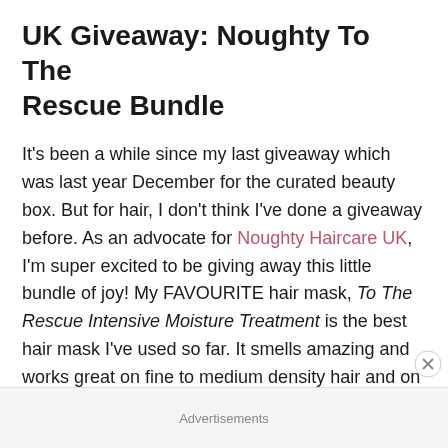UK Giveaway: Noughty To The Rescue Bundle
It's been a while since my last giveaway which was last year December for the curated beauty box. But for hair, I don't think I've done a giveaway before. As an advocate for Noughty Haircare UK, I'm super excited to be giving away this little bundle of joy! My FAVOURITE hair mask, To The Rescue Intensive Moisture Treatment is the best hair mask I've used so far. It smells amazing and works great on fine to medium density hair and on all hair curl types. It's
Advertisements